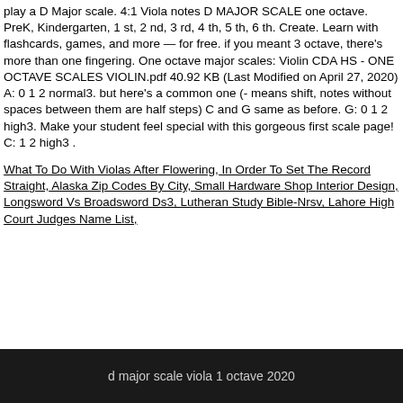play a D Major scale. 4:1 Viola notes D MAJOR SCALE one octave. PreK, Kindergarten, 1 st, 2 nd, 3 rd, 4 th, 5 th, 6 th. Create. Learn with flashcards, games, and more — for free. if you meant 3 octave, there's more than one fingering. One octave major scales: Violin CDA HS - ONE OCTAVE SCALES VIOLIN.pdf 40.92 KB (Last Modified on April 27, 2020) A: 0 1 2 normal3. but here's a common one (- means shift, notes without spaces between them are half steps) C and G same as before. G: 0 1 2 high3. Make your student feel special with this gorgeous first scale page! C: 1 2 high3 .
What To Do With Violas After Flowering, In Order To Set The Record Straight, Alaska Zip Codes By City, Small Hardware Shop Interior Design, Longsword Vs Broadsword Ds3, Lutheran Study Bible-Nrsv, Lahore High Court Judges Name List,
d major scale viola 1 octave 2020